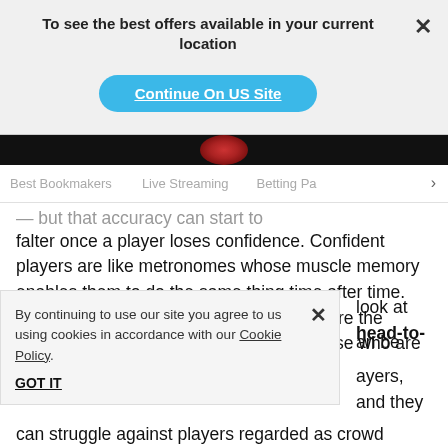To see the best offers available in your current location
Continue On US Site
Best Bookmakers   Live Streaming   Betting Pa >
falter once a player loses confidence. Confident players are like metronomes whose muscle memory enables them to do the same thing time after time. Look at the current form of players before the tournament starts, and in particular at those who are currently scoring above their
By continuing to use our site you agree to us using cookies in accordance with our Cookie Policy.
GOT IT
look at head-to-
an be
ayers, and they
can struggle against players regarded as crowd